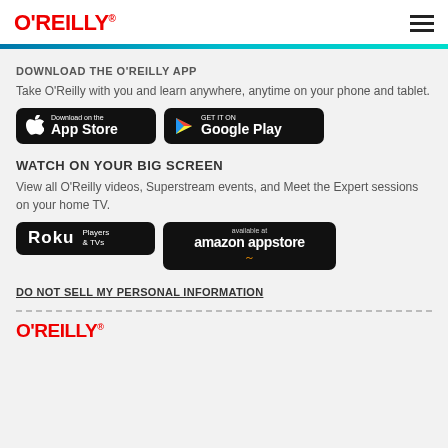O'REILLY
DOWNLOAD THE O'REILLY APP
Take O'Reilly with you and learn anywhere, anytime on your phone and tablet.
[Figure (logo): Download on the App Store button (black rounded rectangle)]
[Figure (logo): GET IT ON Google Play button (black rounded rectangle)]
WATCH ON YOUR BIG SCREEN
View all O'Reilly videos, Superstream events, and Meet the Expert sessions on your home TV.
[Figure (logo): Roku Players & TVs button (black rounded rectangle)]
[Figure (logo): available at amazon appstore button (black rounded rectangle)]
DO NOT SELL MY PERSONAL INFORMATION
O'REILLY